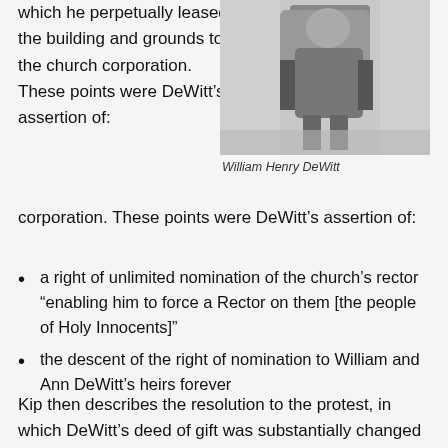which he perpetually leased the building and grounds to the church corporation. These points were DeWitt’s assertion of:
[Figure (photo): Black and white photograph of a person standing, identified as William Henry DeWitt]
William Henry DeWitt
a right of unlimited nomination of the church’s rector “enabling him to force a Rector on them [the people of Holy Innocents]”
the descent of the right of nomination to William and Ann DeWitt’s heirs forever
Kip then describes the resolution to the protest, in which DeWitt’s deed of gift was substantially changed